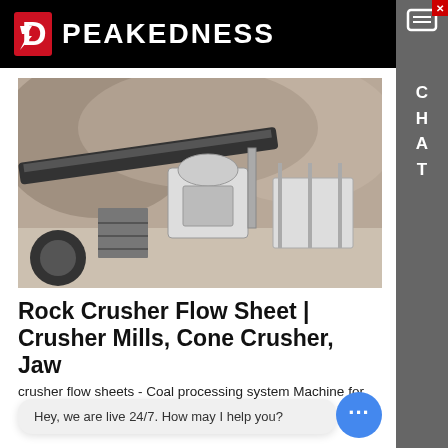PEAKEDNESS
[Figure (photo): Industrial rock crusher / cone crusher machine on a mobile platform at a quarry site, showing conveyor belts, crusher unit, and support structures with rocky terrain in background]
Rock Crusher Flow Sheet | Crusher Mills, Cone Crusher, Jaw
crusher flow sheets - Coal processing system Machine for